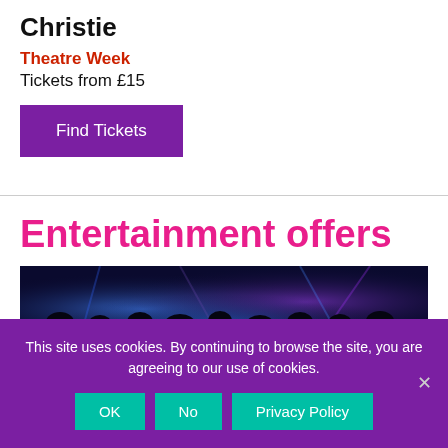Christie
Theatre Week
Tickets from £15
Find Tickets
Entertainment offers
[Figure (photo): Concert scene with blue and purple stage lighting, audience in foreground, performers on stage]
This site uses cookies. By continuing to browse the site, you are agreeing to our use of cookies.
OK  No  Privacy Policy